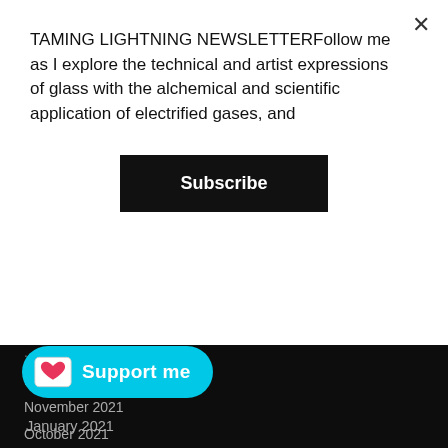TAMING LIGHTNING NEWSLETTERFollow me as I explore the technical and artist expressions of glass with the alchemical and scientific application of electrified gases, and
Subscribe
December 2021
November 2021
October 2021
September 2021
August 2021
July 2021
June 2021
May 2021
April 2021
March 2021
Support me
January 2021